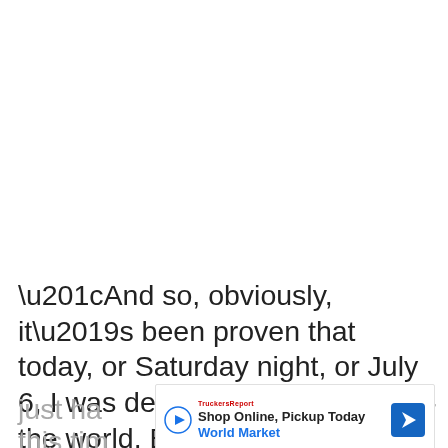“And so, obviously, it’s been proven that today, or Saturday night, or July 6, I was definitely not the best in the world. But is there other ways I can beat everybody in my division? I think the answer is, yes. I just ha… for this tim… e I
[Figure (other): Advertisement overlay: Shop Online, Pickup Today - World Market, with play button icon, retailer logo, and navigation arrow icon]